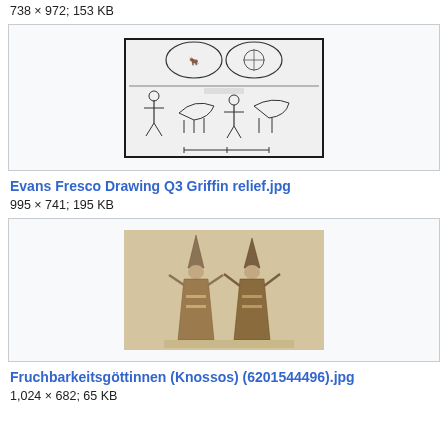738 × 972; 153 KB
[Figure (illustration): Black and white drawing of ancient fresco showing animals (goats/bulls) in circular medallions at top and human figures with animals in a frieze below, archaeological illustration style.]
Evans Fresco Drawing Q3 Griffin relief.jpg
995 × 741; 195 KB
[Figure (photo): Photograph of two Minoan snake goddess figurines from Knossos, terracotta statuettes with tall pointed hats and raised arms, displayed on museum shelf with beige/tan background.]
Fruchbarkeitsgöttinnen (Knossos) (6201544496).jpg
1,024 × 682; 65 KB